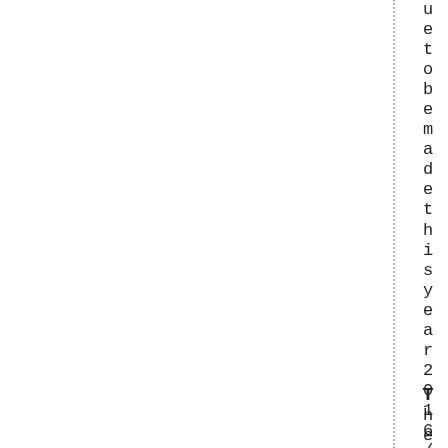ue to be made this year 2016/17. The
Th e